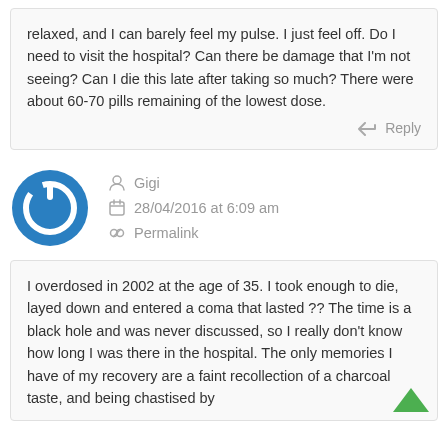relaxed, and I can barely feel my pulse. I just feel off. Do I need to visit the hospital? Can there be damage that I'm not seeing? Can I die this late after taking so much? There were about 60-70 pills remaining of the lowest dose.
Reply
Gigi
28/04/2016 at 6:09 am
Permalink
I overdosed in 2002 at the age of 35. I took enough to die, layed down and entered a coma that lasted ?? The time is a black hole and was never discussed, so I really don't know how long I was there in the hospital. The only memories I have of my recovery are a faint recollection of a charcoal taste, and being chastised by